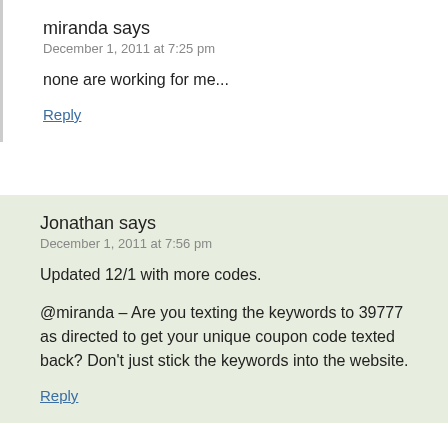miranda says
December 1, 2011 at 7:25 pm
none are working for me...
Reply
Jonathan says
December 1, 2011 at 7:56 pm
Updated 12/1 with more codes.
@miranda – Are you texting the keywords to 39777 as directed to get your unique coupon code texted back? Don’t just stick the keywords into the website.
Reply